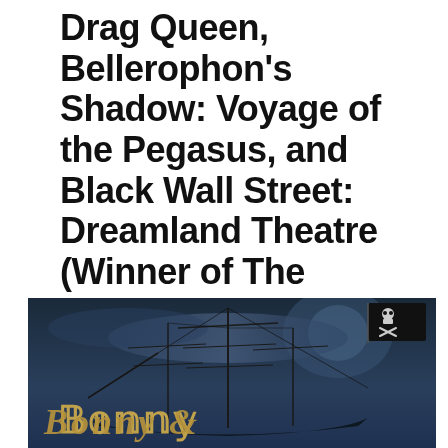Drag Queen, Bellerophon's Shadow: Voyage of the Pegasus, and Black Wall Street: Dreamland Theatre (Winner of The Stages of MN Fringe of the Day Award).
[Figure (illustration): Dark atmospheric image of a tall ship with masts and sails silhouetted against a moody blue-gray sky, with a pirate skull-and-crossbones flag in the upper right. Ornate gold/tan text at the bottom reads 'BONNY &' with 'READ' partially visible, in a decorative old-style typeface.]